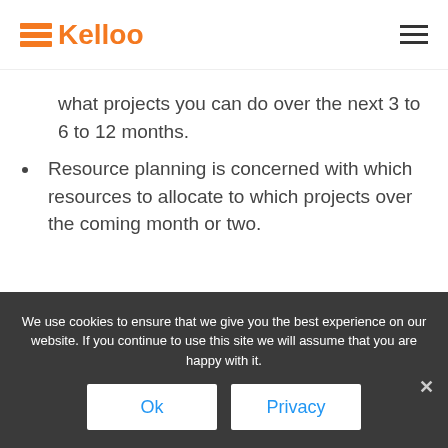Kelloo
what projects you can do over the next 3 to 6 to 12 months.
Resource planning is concerned with which resources to allocate to which projects over the coming month or two.
We use cookies to ensure that we give you the best experience on our website. If you continue to use this site we will assume that you are happy with it.
Ok | Privacy